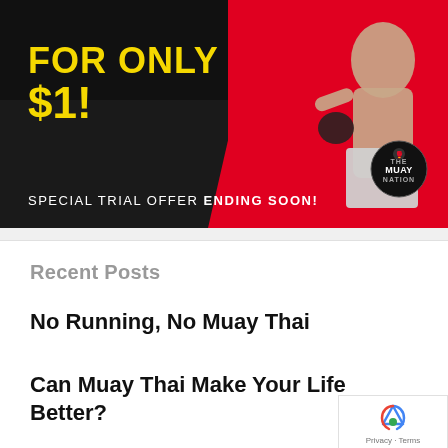[Figure (illustration): Muay Thai promotional banner advertisement with dark and red background, showing a Muay Thai fighter in boxing shorts, with yellow bold text reading 'FOR ONLY $1!' and white text 'SPECIAL TRIAL OFFER ENDING SOON!' and a Muay Thai Nation logo badge]
Recent Posts
No Running, No Muay Thai
Can Muay Thai Make Your Life Better?